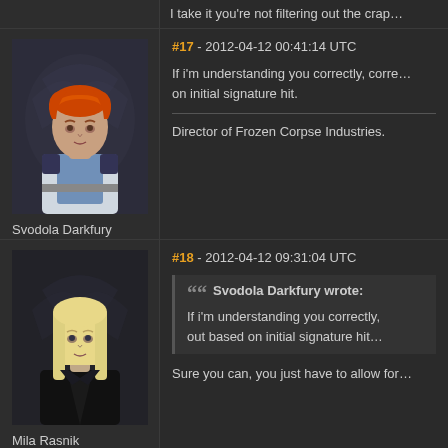I take it you're not filtering out the crap…
#17 - 2012-04-12 00:41:14 UTC
[Figure (illustration): Avatar of Svodola Darkfury, a female character with short red hair wearing a blue and white uniform]
Svodola Darkfury
Heaven's End
Likes received: 419
If i'm understanding you correctly, corre… on initial signature hit.
Director of Frozen Corpse Industries.
#18 - 2012-04-12 09:31:04 UTC
[Figure (illustration): Avatar of Mila Rasnik, a female character with straight blonde hair wearing a black jacket]
Mila Rasnik
Magnum Research
Svodola Darkfury wrote: If i'm understanding you correctly, out based on initial signature hit...
Sure you can, you just have to allow for…